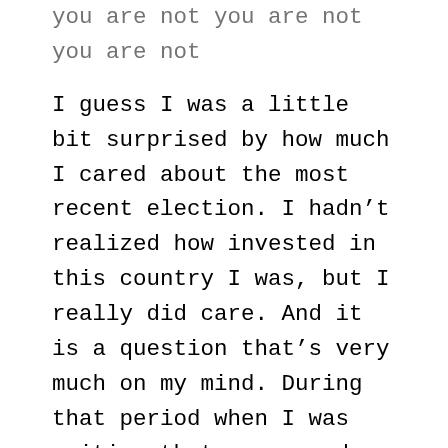you are not you are not you are not
I guess I was a little bit surprised by how much I cared about the most recent election. I hadn't realized how invested in this country I was, but I really did care. And it is a question that's very much on my mind. During that period when I was writing that essay and traveling a lot, there were an incredible number of mass shootings that year, and it got to the point where I found myself thinking, as a parent, is it irresponsible of me to raise a child in this country? Of course there's no such